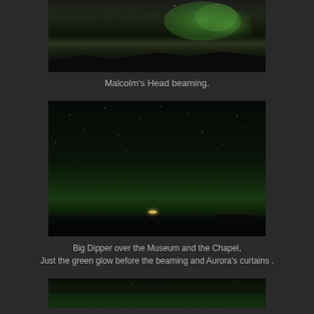[Figure (photo): Night sky photograph showing aurora borealis (northern lights) with green glow above dark hill silhouettes - Malcolm's Head beaming]
Malcolm's Head beaming.
[Figure (photo): Night sky photograph showing the Big Dipper constellation over dark landscape with Museum and Chapel silhouettes, green aurora glow visible above horizon, and small lights near center]
Big Dipper over the Museum and the Chapel,
Just the green glow before the beaming and Aurora's curtains .
[Figure (photo): Night sky photograph showing green aurora glow - partial view at bottom of page]